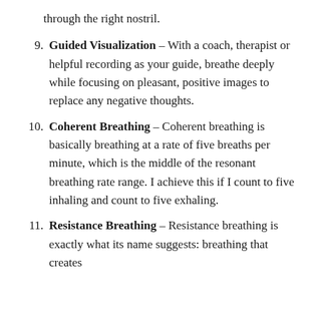through the right nostril.
9. Guided Visualization – With a coach, therapist or helpful recording as your guide, breathe deeply while focusing on pleasant, positive images to replace any negative thoughts.
10. Coherent Breathing – Coherent breathing is basically breathing at a rate of five breaths per minute, which is the middle of the resonant breathing rate range. I achieve this if I count to five inhaling and count to five exhaling.
11. Resistance Breathing – Resistance breathing is exactly what its name suggests: breathing that creates